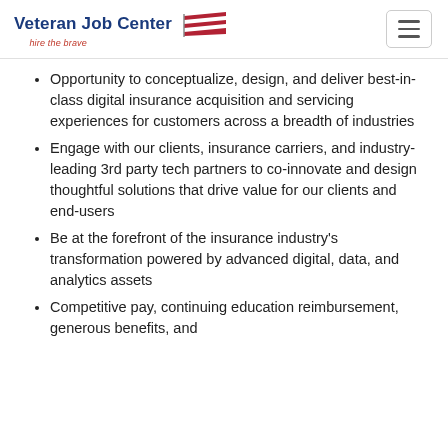Veteran Job Center — hire the brave
Opportunity to conceptualize, design, and deliver best-in-class digital insurance acquisition and servicing experiences for customers across a breadth of industries
Engage with our clients, insurance carriers, and industry-leading 3rd party tech partners to co-innovate and design thoughtful solutions that drive value for our clients and end-users
Be at the forefront of the insurance industry's transformation powered by advanced digital, data, and analytics assets
Competitive pay, continuing education reimbursement, generous benefits, and